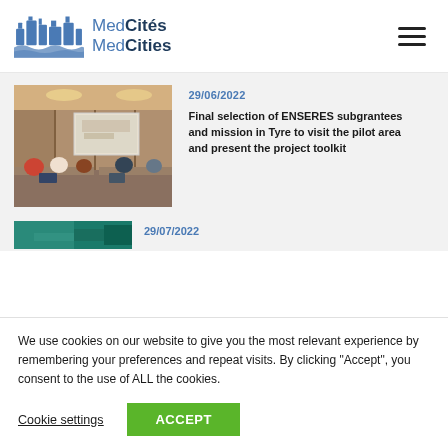[Figure (logo): MedCités MedCities logo with blue city skyline icon and bilingual text]
29/06/2022
Final selection of ENSERES subgrantees and mission in Tyre to visit the pilot area and present the project toolkit
[Figure (photo): Conference room photo showing people at tables and a presentation screen]
[Figure (photo): Partial image with teal/green texture, partially visible]
29/07/2022 (partially visible)
We use cookies on our website to give you the most relevant experience by remembering your preferences and repeat visits. By clicking "Accept", you consent to the use of ALL the cookies.
Cookie settings
ACCEPT